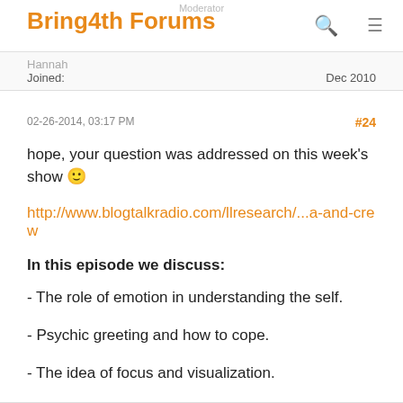Moderator
Bring4th Forums
Joined:                                                Dec 2010
02-26-2014, 03:17 PM   #24
hope, your question was addressed on this week's show 🙂
http://www.blogtalkradio.com/llresearch/...a-and-crew
In this episode we discuss:
- The role of emotion in understanding the self.
- Psychic greeting and how to cope.
- The idea of focus and visualization.